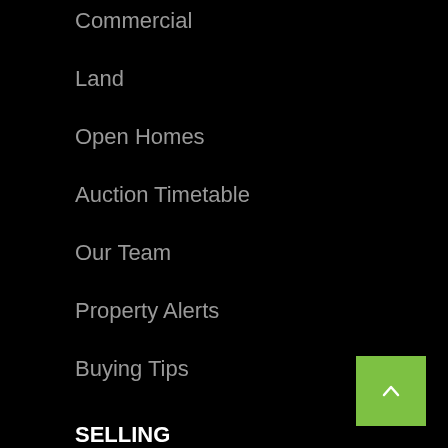Commercial
Land
Open Homes
Auction Timetable
Our Team
Property Alerts
Buying Tips
SELLING
Market Appraisal
Recent Sales
Testimonials
Selling Tips